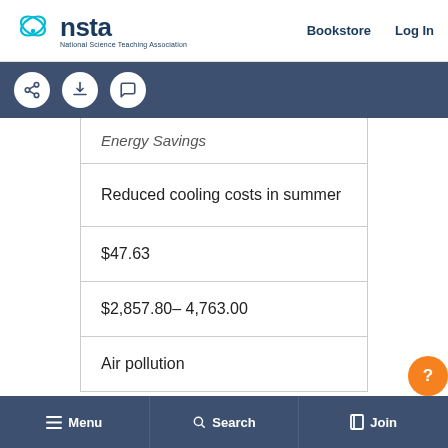nsta | National Science Teaching Association — Bookstore | Log In
[Figure (screenshot): NSTA logo with teal infinity/atom icon and dark blue text, navigation bar with Bookstore and Log In links]
[Figure (screenshot): Dark blue toolbar with share, download, and comment icon buttons]
| Energy Savings |
| Reduced cooling costs in summer |
| $47.63 |
| $2,857.80– 4,763.00 |
| Air pollution |
≡ Menu   Search   Join